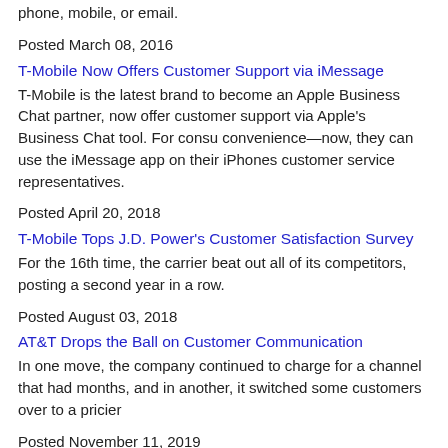phone, mobile, or email.
Posted March 08, 2016
T-Mobile Now Offers Customer Support via iMessage
T-Mobile is the latest brand to become an Apple Business Chat partner, now offer customer support via Apple's Business Chat tool. For convenience—now, they can use the iMessage app on their iPhones customer service representatives.
Posted April 20, 2018
T-Mobile Tops J.D. Power's Customer Satisfaction Survey
For the 16th time, the carrier beat out all of its competitors, posting a second year in a row.
Posted August 03, 2018
AT&T Drops the Ball on Customer Communication
In one move, the company continued to charge for a channel that had months, and in another, it switched some customers over to a pricier
Posted November 11, 2019